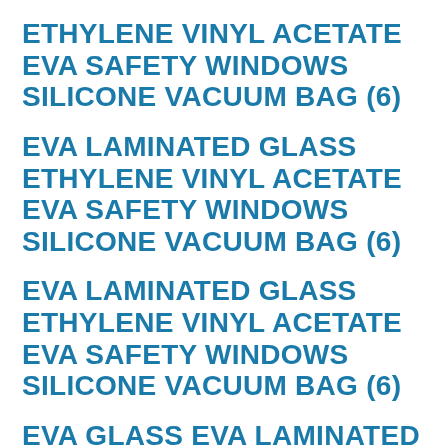ETHYLENE VINYL ACETATE EVA SAFETY WINDOWS SILICONE VACUUM BAG (6)
EVA LAMINATED GLASS ETHYLENE VINYL ACETATE EVA SAFETY WINDOWS SILICONE VACUUM BAG (6)
EVA LAMINATED GLASS ETHYLENE VINYL ACETATE EVA SAFETY WINDOWS SILICONE VACUUM BAG (6)
EVA GLASS EVA LAMINATED GLASS EVA BUILDING WINDOWS EVA ARCHITECTURE (17)